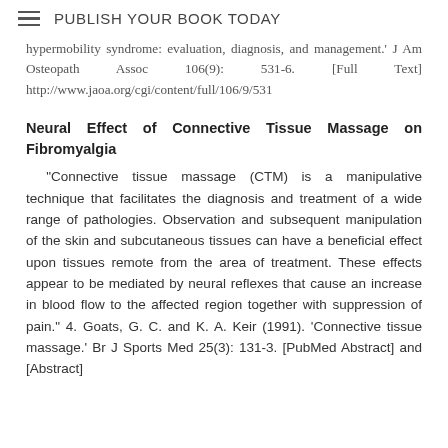PUBLISH YOUR BOOK TODAY
hypermobility syndrome: evaluation, diagnosis, and management. J Am Osteopath Assoc 106(9): 531-6. [Full Text] http://www.jaoa.org/cgi/content/full/106/9/531
Neural Effect of Connective Tissue Massage on Fibromyalgia
“Connective tissue massage (CTM) is a manipulative technique that facilitates the diagnosis and treatment of a wide range of pathologies. Observation and subsequent manipulation of the skin and subcutaneous tissues can have a beneficial effect upon tissues remote from the area of treatment. These effects appear to be mediated by neural reflexes that cause an increase in blood flow to the affected region together with suppression of pain.” 4. Goats, G. C. and K. A. Keir (1991). ‘Connective tissue massage.’ Br J Sports Med 25(3): 131-3. [PubMed Abstract] and [Abstract]